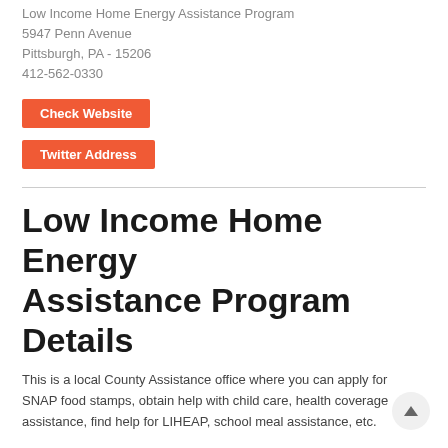Low Income Home Energy Assistance Program
5947 Penn Avenue
Pittsburgh, PA - 15206
412-562-0330
Check Website
Twitter Address
Low Income Home Energy Assistance Program Details
This is a local County Assistance office where you can apply for SNAP food stamps, obtain help with child care, health coverage assistance, find help for LIHEAP, school meal assistance, etc.